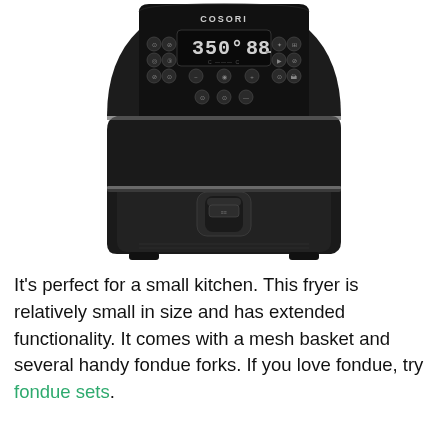[Figure (photo): A black COSORI air fryer with digital display showing 350° 88, multiple control buttons on top panel, and a pull-out basket with handle in the front center.]
It's perfect for a small kitchen. This fryer is relatively small in size and has extended functionality. It comes with a mesh basket and several handy fondue forks. If you love fondue, try fondue sets.